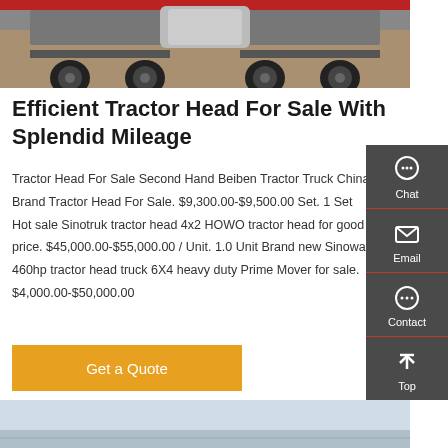[Figure (photo): Front/underside view of a heavy duty tractor truck (semi-truck) showing the chassis, axles, and large tires, photographed from ground level in a warehouse/showroom setting.]
Efficient Tractor Head For Sale With Splendid Mileage
Tractor Head For Sale Second Hand Beiben Tractor Truck China Brand Tractor Head For Sale. $9,300.00-$9,500.00 Set. 1 Set Hot sale Sinotruk tractor head 4x2 HOWO tractor head for good price. $45,000.00-$55,000.00 / Unit. 1.0 Unit Brand new Sinoway 460hp tractor head truck 6X4 heavy duty Prime Mover for sale. $4,000.00-$50,000.00
[Figure (screenshot): Sidebar widget with Chat, Email, Contact, and Top navigation icons on a dark gray background]
[Figure (photo): Partial view of another truck/vehicle at the bottom of the page, showing a light blue-gray sky and vehicle outline]